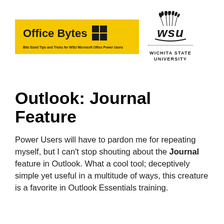[Figure (logo): Office Bytes yellow banner logo with Windows icon and text 'Bite Sized Tips and Tricks for WSU Microsoft Office Power Users', alongside the Wichita State University WSU emblem and name]
Outlook: Journal Feature
Power Users will have to pardon me for repeating myself, but I can't stop shouting about the Journal feature in Outlook. What a cool tool; deceptively simple yet useful in a multitude of ways, this creature is a favorite in Outlook Essentials training.